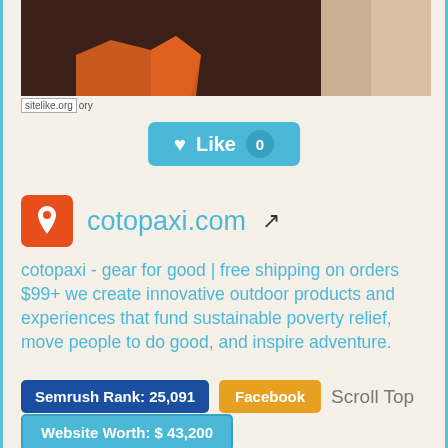[Figure (screenshot): Screenshot thumbnail of cotopaxi.com website showing outdoor/boot imagery on dark brown background]
sitelike.org  ory
[Figure (other): Like button with heart icon showing count 0]
cotopaxi.com with external link icon
cotopaxi - gear for good | free shipping on orders $99+ we create innovative outdoor products and experiences that fund sustainable poverty relief, move people to do good, and inspire adventure.
Semrush Rank: 25,091   Facebook   Scroll Top
Website Worth: $ 43,200
Categories: Travel, Shopping
Is it similar?  Yes 0  No 0